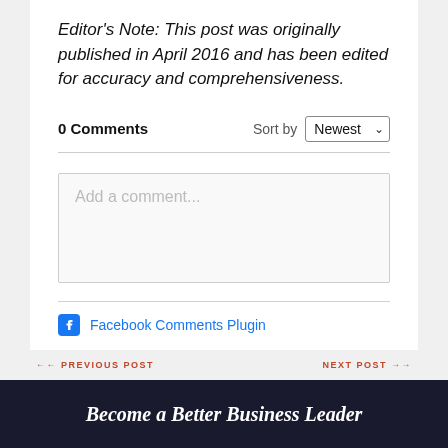Editor's Note: This post was originally published in April 2016 and has been edited for accuracy and comprehensiveness.
0 Comments    Sort by Newest
[Figure (screenshot): Comment input box with placeholder text 'Add a comment...']
Facebook Comments Plugin
PREVIOUS POST    NEXT POST
Become a Better Business Leader